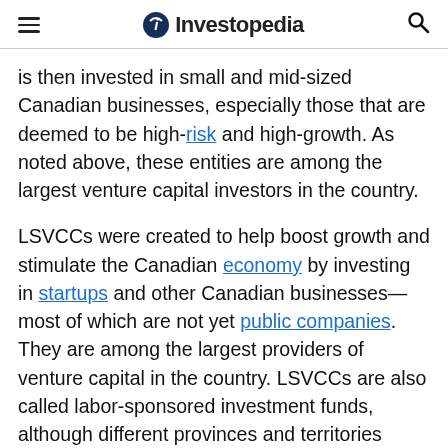Investopedia
is then invested in small and mid-sized Canadian businesses, especially those that are deemed to be high-risk and high-growth. As noted above, these entities are among the largest venture capital investors in the country.
LSVCCs were created to help boost growth and stimulate the Canadian economy by investing in startups and other Canadian businesses—most of which are not yet public companies. They are among the largest providers of venture capital in the country. LSVCCs are also called labor-sponsored investment funds, although different provinces and territories ma